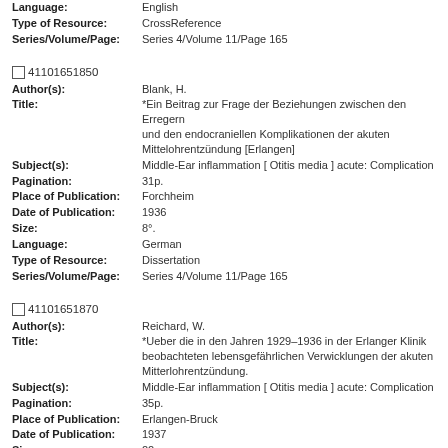Language: English
Type of Resource: CrossReference
Series/Volume/Page: Series 4/Volume 11/Page 165
41101651850
Author(s): Blank, H.
Title: *Ein Beitrag zur Frage der Beziehungen zwischen den Erregern und den endocraniellen Komplikationen der akuten Mittelohrentzündung [Erlangen]
Subject(s): Middle-Ear inflammation [ Otitis media ] acute: Complication
Pagination: 31p.
Place of Publication: Forchheim
Date of Publication: 1936
Size: 8°.
Language: German
Type of Resource: Dissertation
Series/Volume/Page: Series 4/Volume 11/Page 165
41101651870
Author(s): Reichard, W.
Title: *Ueber die in den Jahren 1929-1936 in der Erlanger Klinik beobachteten lebensgefährlichen Verwicklungen der akuten Mitterlohrentzündung.
Subject(s): Middle-Ear inflammation [ Otitis media ] acute: Complication
Pagination: 35p.
Place of Publication: Erlangen-Bruck
Date of Publication: 1937
Size: 22cm.
Language: German
Type of Resource: Dissertation
Series/Volume/Page: Series 4/Volume 11/Page 165